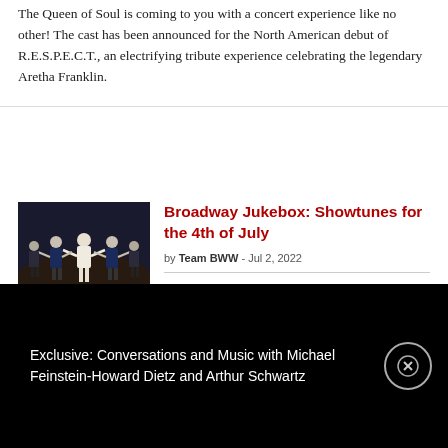The Queen of Soul is coming to you with a concert experience like no other! The cast has been announced for the North American debut of R.E.S.P.E.C.T., an electrifying tribute experience celebrating the legendary Aretha Franklin.
[Figure (photo): Broadway performers on stage, several people in period costumes with arms outstretched]
Broadway Jukebox: Showtunes for the 4th of July
by Team BWW - Jul 2, 2022
This July 4th, enjoy songs from
Exclusive: Conversations and Music with Michael Feinstein-Howard Dietz and Arthur Schwartz